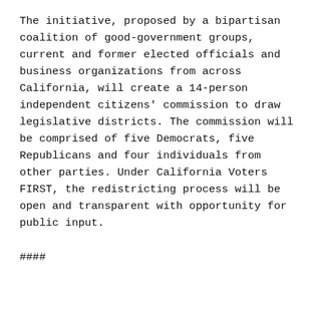The initiative, proposed by a bipartisan coalition of good-government groups, current and former elected officials and business organizations from across California, will create a 14-person independent citizens' commission to draw legislative districts. The commission will be comprised of five Democrats, five Republicans and four individuals from other parties. Under California Voters FIRST, the redistricting process will be open and transparent with opportunity for public input.
####